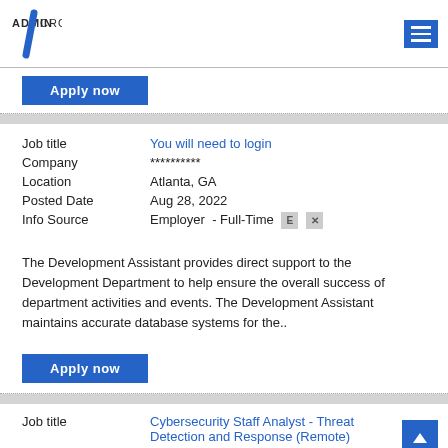ADMIN CROSSING
Apply now
| Field | Value |
| --- | --- |
| Job title | You will need to login |
| Company | ********** |
| Location | Atlanta, GA |
| Posted Date | Aug 28, 2022 |
| Info Source | Employer  - Full-Time E X |
The Development Assistant provides direct support to the Development Department to help ensure the overall success of department activities and events. The Development Assistant maintains accurate database systems for the..
Apply now
| Field | Value |
| --- | --- |
| Job title | Cybersecurity Staff Analyst - Threat Detection and Response (Remote) |